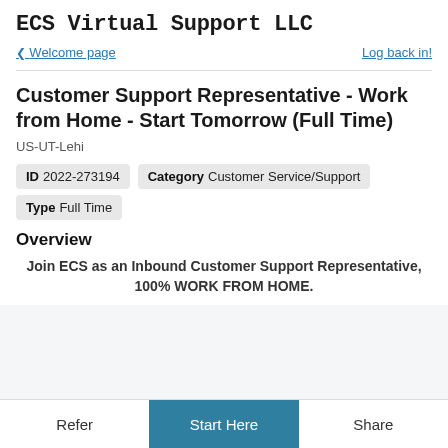ECS Virtual Support LLC
Welcome page
Log back in!
Customer Support Representative - Work from Home - Start Tomorrow (Full Time)
US-UT-Lehi
ID 2022-273194   Category Customer Service/Support
Type Full Time
Overview
Join ECS as an Inbound Customer Support Representative, 100% WORK FROM HOME.
Refer   Start Here   Share